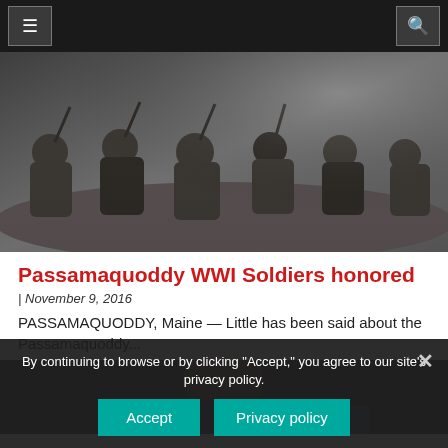Navigation bar with menu and search icons
[Figure (photo): Black and white historical photograph of WWI soldiers sitting along a trench or wall, holding rifles, wearing military gear and helmets]
Passamaquoddy WWI Soldiers honored
| November 9, 2016
PASSAMAQUODDY, Maine — Little has been said about the Passamaquoddy...
[Figure (photo): Partial photo of a person, bottom of page, partially obscured by cookie consent overlay]
By continuing to browse or by clicking "Accept," you agree to our site's privacy policy.
Accept    Privacy policy